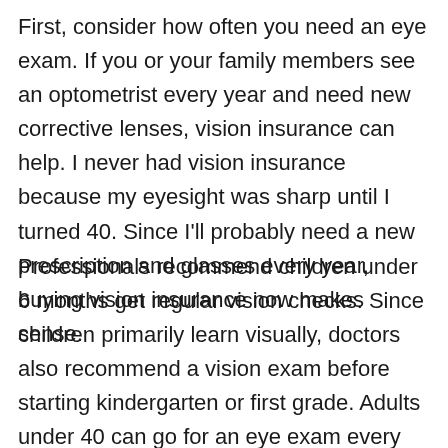First, consider how often you need an eye exam. If you or your family members see an optometrist every year and need new corrective lenses, vision insurance can help. I never had vision insurance because my eyesight was sharp until I turned 40. Since I'll probably need a new prescription and glasses every year, buying vision insurance now makes sense.
Professionals recommend children under 6 months get regular vision checks. Since children primarily learn visually, doctors also recommend a vision exam before starting kindergarten or first grade. Adults under 40 can go for an eye exam every two or three years, while people 40 and up should go annually.